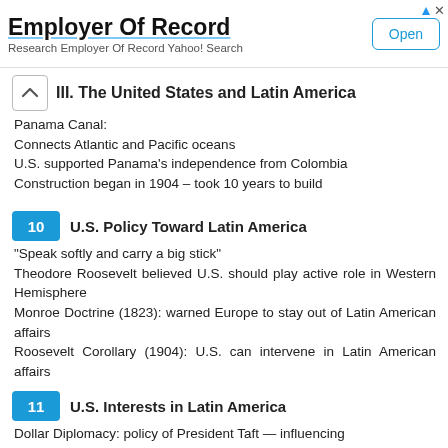[Figure (other): Advertisement banner: Employer Of Record — Research Employer Of Record Yahoo! Search — Open button]
III. The United States and Latin America
Panama Canal:
Connects Atlantic and Pacific oceans
U.S. supported Panama's independence from Colombia
Construction began in 1904 – took 10 years to build
10  U.S. Policy Toward Latin America
"Speak softly and carry a big stick"
Theodore Roosevelt believed U.S. should play active role in Western Hemisphere
Monroe Doctrine (1823): warned Europe to stay out of Latin American affairs
Roosevelt Corollary (1904): U.S. can intervene in Latin American affairs
11  U.S. Interests in Latin America
Dollar Diplomacy: policy of President Taft — influencing…